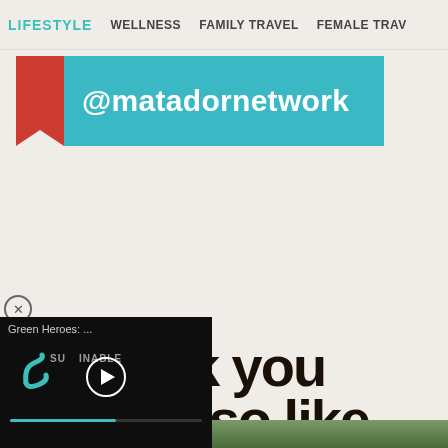LIFESTYLE   WELLNESS   FAMILY TRAVEL   FEMALE TRAV
[Figure (screenshot): Social media banner ad with teal background showing '@matadornetwork' text in white with a red block on the left]
[Figure (screenshot): Video player overlay with dark background showing 'Green Heroes: ...' title, Sustainable logo, play button, and teal progress bar]
we think you might also like
[Figure (photo): Partial view of a nature/outdoor photo at the bottom of the page]